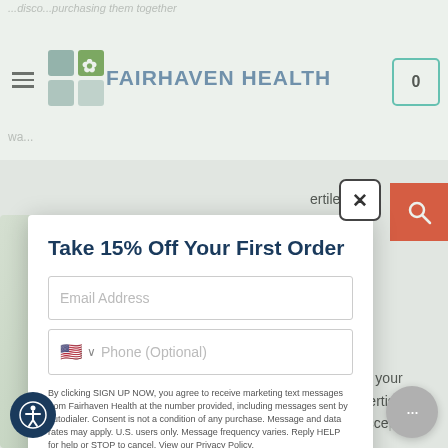[Figure (screenshot): Fairhaven Health website header with logo, hamburger menu, and cart icon]
...discount...purchasing them together
ertile time
nceiving.
Test.
With the
e results
r missed
d improve your
h our advertising
ite, you accept our
[Figure (screenshot): Email signup popup modal with title 'Take 15% Off Your First Order', email address field, phone optional field, legal disclaimer text, and SIGN UP NOW button]
Take 15% Off Your First Order
By clicking SIGN UP NOW, you agree to receive marketing text messages from Fairhaven Health at the number provided, including messages sent by autodialer. Consent is not a condition of any purchase. Message and data rates may apply. U.S. users only. Message frequency varies. Reply HELP for help or STOP to cancel. View our Privacy Policy.